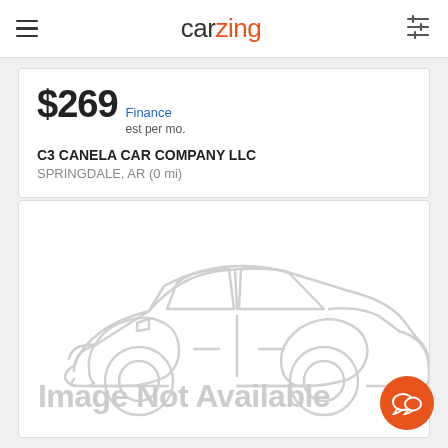carzing
$269 Finance est per mo.
C3 CANELA CAR COMPANY LLC
SPRINGDALE, AR (0 mi)
[Figure (illustration): Placeholder car silhouette outline drawing in light gray, with 'Image Not Available' text below it]